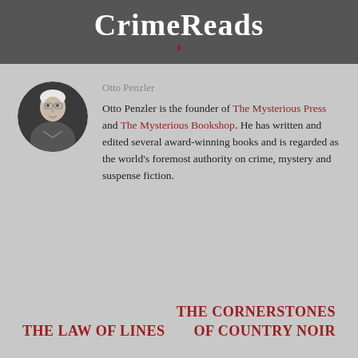CrimeReads
Otto Penzler
Otto Penzler is the founder of The Mysterious Press and The Mysterious Bookshop. He has written and edited several award-winning books and is regarded as the world's foremost authority on crime, mystery and suspense fiction.
THE LAW OF LINES
THE CORNERSTONES OF COUNTRY NOIR